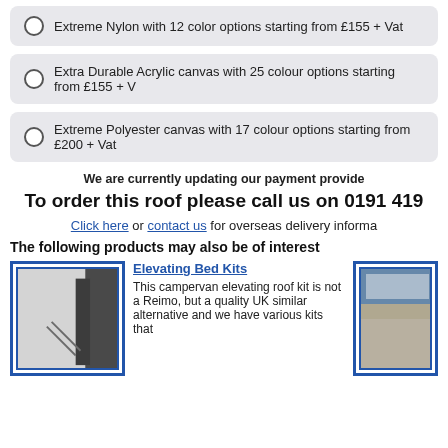Extreme Nylon with 12 color options starting from £155 + Vat
Extra Durable Acrylic canvas with 25 colour options starting from £155 + V
Extreme Polyester canvas with 17 colour options starting from £200 + Vat
We are currently updating our payment provide
To order this roof please call us on 0191 419
Click here or contact us for overseas delivery informa
The following products may also be of interest
Elevating Bed Kits
This campervan elevating roof kit is not a Reimo, but a quality UK similar alternative and we have various kits that